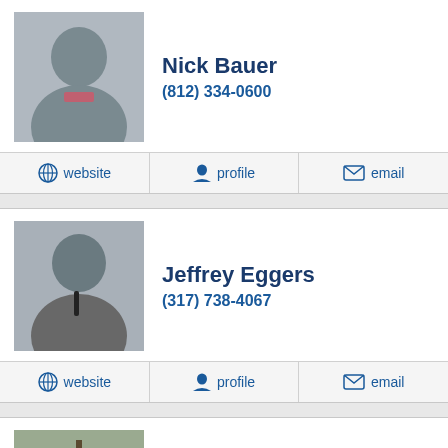Nick Bauer
(812) 334-0600
website | profile | email
Jeffrey Eggers
(317) 738-4067
website | profile | email
Carl Lamb
(812) 332-1420
profile | email